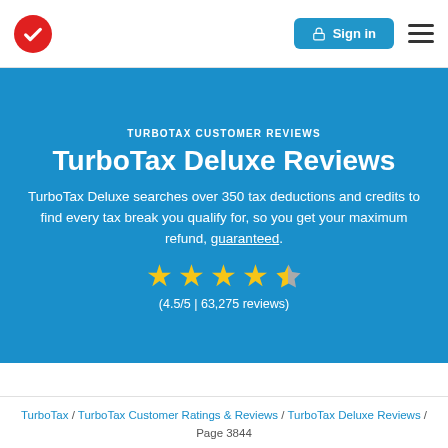[Figure (logo): TurboTax red circle checkmark logo in navigation bar]
Sign in
TURBOTAX CUSTOMER REVIEWS
TurboTax Deluxe Reviews
TurboTax Deluxe searches over 350 tax deductions and credits to find every tax break you qualify for, so you get your maximum refund, guaranteed.
[Figure (infographic): 4.5 out of 5 stars rating display with four full yellow stars and one half-filled star]
(4.5/5 | 63,275 reviews)
TurboTax / TurboTax Customer Ratings & Reviews / TurboTax Deluxe Reviews / Page 3844